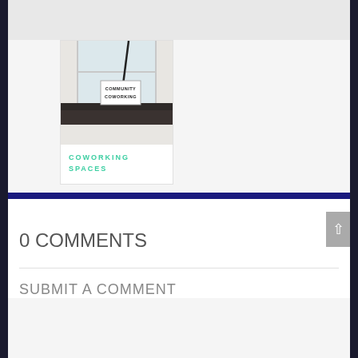[Figure (photo): Photo of a coworking space interior with a sign reading COMMUNITY COWORKING, with a lamp and white walls]
COWORKING SPACES
[Figure (other): Dark navy blue horizontal divider bar]
0 COMMENTS
SUBMIT A COMMENT